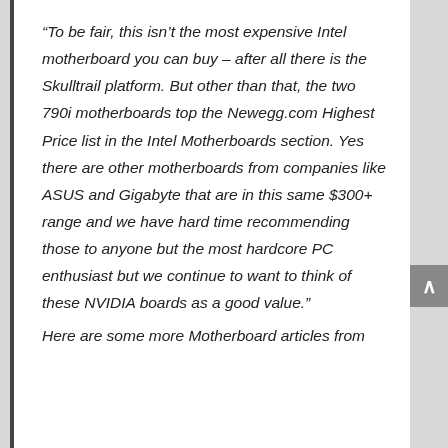“To be fair, this isn’t the most expensive Intel motherboard you can buy – after all there is the Skulltrail platform. But other than that, the two 790i motherboards top the Newegg.com Highest Price list in the Intel Motherboards section. Yes there are other motherboards from companies like ASUS and Gigabyte that are in this same $300+ range and we have hard time recommending those to anyone but the most hardcore PC enthusiast but we continue to want to think of these NVIDIA boards as a good value.”
Here are some more Motherboard articles from